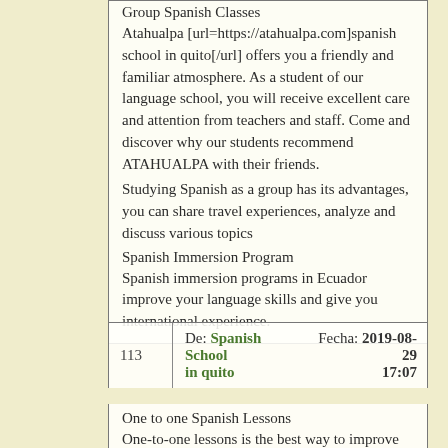Group Spanish Classes
Atahualpa [url=https://atahualpa.com]spanish school in quito[/url] offers you a friendly and familiar atmosphere. As a student of our language school, you will receive excellent care and attention from teachers and staff. Come and discover why our students recommend ATAHUALPA with their friends.
Studying Spanish as a group has its advantages, you can share travel experiences, analyze and discuss various topics
Spanish Immersion Program
Spanish immersion programs in Ecuador improve your language skills and give you international experience.
| 113 | De: Spanish School in quito | Fecha: 2019-08-29 17:07 |
| --- | --- | --- |
One to one Spanish Lessons
One-to-one lessons is the best way to improve your Spanish especially if you have a limited amount of time.
Private Spanish Lessons
Private Spanish classes with highly qualified native